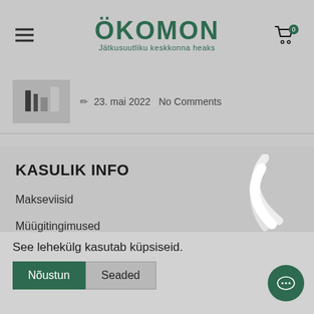ÖKOMON – Jätkusuutliku keskkonna heaks
[Figure (screenshot): Post thumbnail showing cosmetic products]
23. mai 2022  No Comments
KASULIK INFO
Makseviisid
Müügitingimused
Privaatsuspoliitika
See lehekülg kasutab küpsiseid.
Nõustun   Seaded